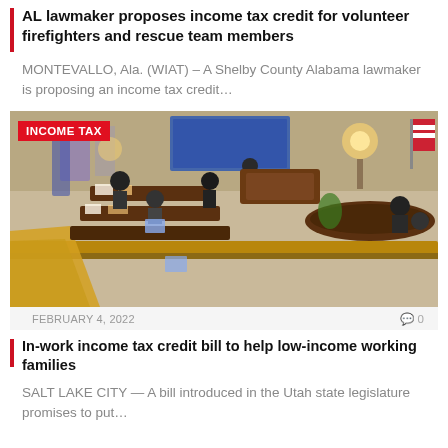AL lawmaker proposes income tax credit for volunteer firefighters and rescue team members
MONTEVALLO, Ala. (WIAT) – A Shelby County Alabama lawmaker is proposing an income tax credit…
[Figure (photo): Overhead view of a state legislative chamber with lawmakers seated at desks. A red label reads 'INCOME TAX' in the upper left corner.]
FEBRUARY 4, 2022   💬 0
In-work income tax credit bill to help low-income working families
SALT LAKE CITY — A bill introduced in the Utah state legislature promises to put…